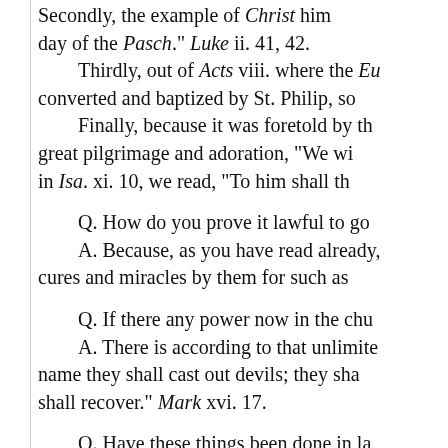Secondly, the example of Christ himself, who went every year on the feast day of the Pasch." Luke ii. 41, 42.
Thirdly, out of Acts viii. where the Eunuch is related to have been converted and baptized by St. Philip, so...
Finally, because it was foretold by the Prophet of great pilgrimage and adoration, "We wi... in Isa. xi. 10, we read, "To him shall th...
Q. How do you prove it lawful to go...
A. Because, as you have read already, God wrought cures and miracles by them for such as...
Q. If there any power now in the chu...
A. There is according to that unlimite... name they shall cast out devils; they sh... shall recover." Mark xvi. 17.
Q. Have these things been done in la...
A. They have, and are, as you may se... many great miracles wrought by the se... registered under the depositions of eve...